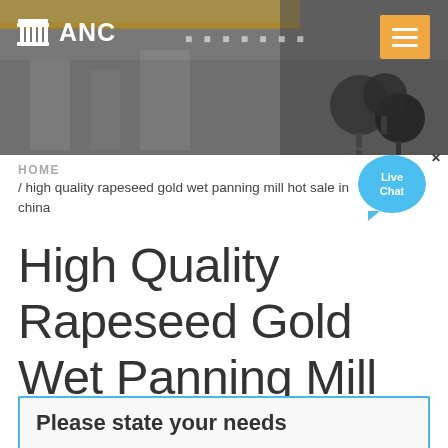[Figure (screenshot): Website header banner with industrial/factory background image, ANC logo with pillar icon on the left, dotted separator, and orange hamburger menu button on the right. Microphone silhouettes visible on the right side.]
ANC
HOME / high quality rapeseed gold wet panning mill hot sale in china
High Quality Rapeseed Gold Wet Panning Mill Hot Sale In China
Please state your needs